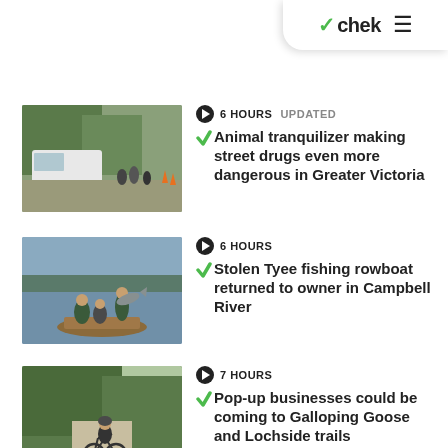chek
[Figure (photo): Street scene with white van, people on grass, urban setting]
6 HOURS   UPDATED
Animal tranquilizer making street drugs even more dangerous in Greater Victoria
[Figure (photo): Man standing in rowboat holding large fish, two people seated in boat on a lake]
6 HOURS
Stolen Tyee fishing rowboat returned to owner in Campbell River
[Figure (photo): Person riding bicycle on a trail with trees in background]
7 HOURS
Pop-up businesses could be coming to Galloping Goose and Lochside trails